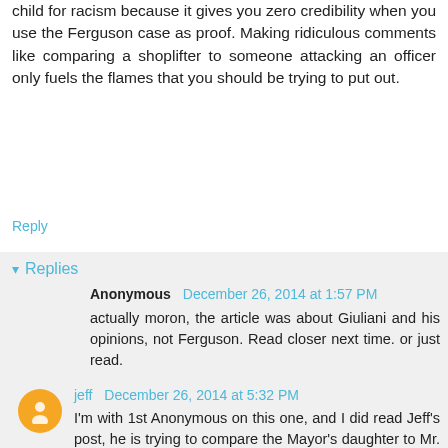child for racism because it gives you zero credibility when you use the Ferguson case as proof. Making ridiculous comments like comparing a shoplifter to someone attacking an officer only fuels the flames that you should be trying to put out.
Reply
Replies
Anonymous December 26, 2014 at 1:57 PM
actually moron, the article was about Giuliani and his opinions, not Ferguson. Read closer next time. or just read.
jeff December 26, 2014 at 5:32 PM
I'm with 1st Anonymous on this one, and I did read Jeff's post, he is trying to compare the Mayor's daughter to Mr. Brown. Guess that makes me a moron too.